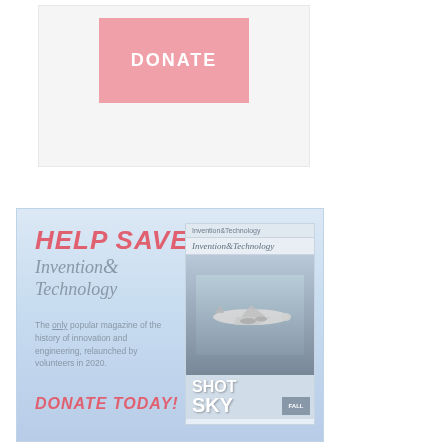[Figure (other): Donate button — pink/salmon rectangular button with 'DONATE' text in white capitals, inside a light gray bordered box]
[Figure (infographic): Advertisement banner for Invention & Technology magazine. Red italic 'HELP SAVE' heading, italic serif 'Invention & Technology' subtitle, descriptive text 'The only popular magazine of the history of innovation and engineering, relaunched by volunteers in 2020', red italic 'DONATE TODAY!' call to action, and a magazine cover mockup showing an airplane and 'SHOT SKY' text. Light blue gradient background.]